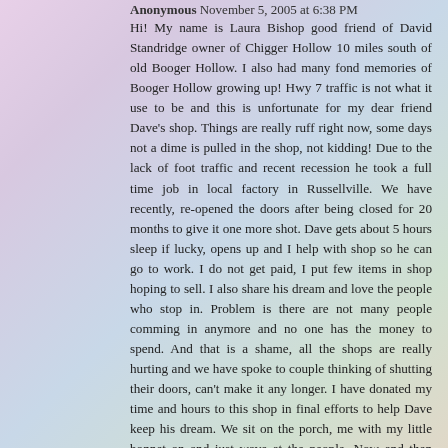Anonymous November 5, 2005 at 6:38 PM
Hi! My name is Laura Bishop good friend of David Standridge owner of Chigger Hollow 10 miles south of old Booger Hollow. I also had many fond memories of Booger Hollow growing up! Hwy 7 traffic is not what it use to be and this is unfortunate for my dear friend Dave's shop. Things are really ruff right now, some days not a dime is pulled in the shop, not kidding! Due to the lack of foot traffic and recent recession he took a full time job in local factory in Russellville. We have recently, re-opened the doors after being closed for 20 months to give it one more shot. Dave gets about 5 hours sleep if lucky, opens up and I help with shop so he can go to work. I do not get paid, I put few items in shop hoping to sell. I also share his dream and love the people who stop in. Problem is there are not many people comming in anymore and no one has the money to spend. And that is a shame, all the shops are really hurting and we have spoke to couple thinking of shutting their doors, can't make it any longer. I have donated my time and hours to this shop in final efforts to help Dave keep his dream. We sit on the porch, me with my little bonnet on and just wave at the people. Now and then you can even catch me out front with my bonnet on and my little empty moonshine jug like the old days at Dogpatch, USA. We have been keeping the faith and are the only one for 40 to be filling